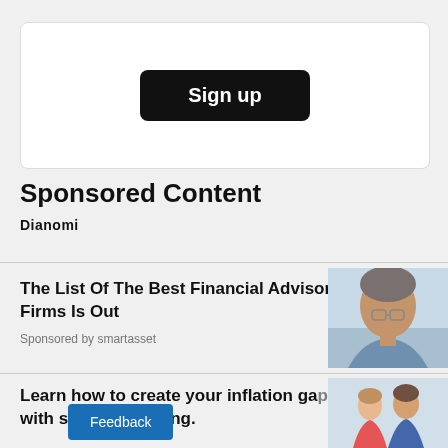[Figure (other): Sign up button on white card]
Sponsored Content
[Figure (logo): Dianomi logo text]
The List Of The Best Financial Advisor Firms Is Out
Sponsored by smartasset
[Figure (photo): Photo of older man with glasses]
Learn how to create your inflation ga[p] with strategic pricing.
[Figure (photo): Photo of two people, man and woman]